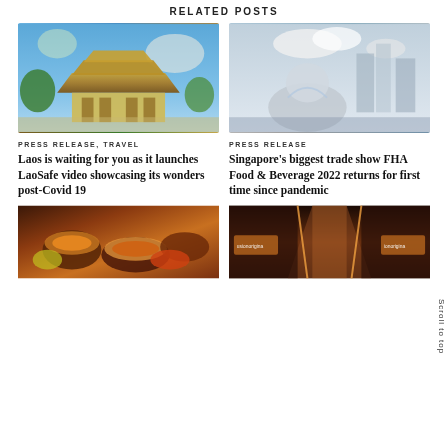RELATED POSTS
[Figure (photo): Laotian temple with golden tiered roofs under blue sky]
[Figure (photo): Singapore Merlion statue with city skyline in background, blurred]
PRESS RELEASE, TRAVEL
PRESS RELEASE
Laos is waiting for you as it launches LaoSafe video showcasing its wonders post-Covid 19
Singapore's biggest trade show FHA Food & Beverage 2022 returns for first time since pandemic
[Figure (photo): Assorted Asian food dishes including curry and rice]
[Figure (photo): Restaurant corridor with warm lighting and signage]